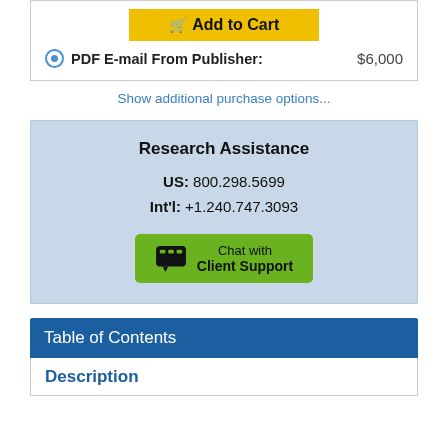[Figure (other): Add to Cart yellow button with shopping cart icon]
PDF E-mail From Publisher:   $6,000
Show additional purchase options...
Research Assistance
US: 800.298.5699
Int'l: +1.240.747.3093
[Figure (other): Chat with Client Support green button with speech bubble icon]
Table of Contents
Description